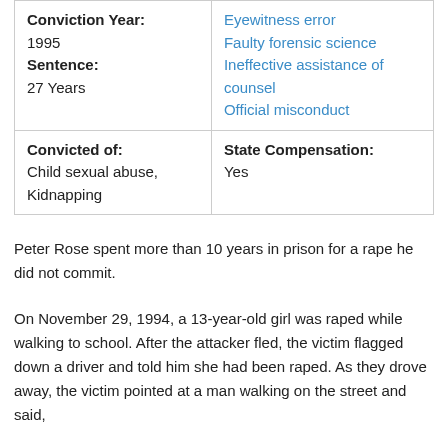| Conviction Year:
1995
Sentence:
27 Years | Eyewitness error
Faulty forensic science
Ineffective assistance of counsel
Official misconduct |
| Convicted of:
Child sexual abuse,
Kidnapping | State Compensation:
Yes |
Peter Rose spent more than 10 years in prison for a rape he did not commit.
On November 29, 1994, a 13-year-old girl was raped while walking to school. After the attacker fled, the victim flagged down a driver and told him she had been raped. As they drove away, the victim pointed at a man walking on the street and said,